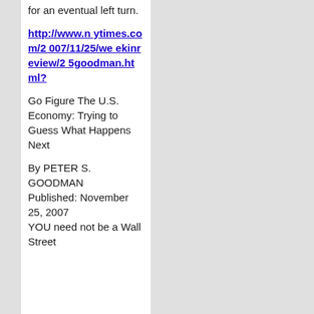for an eventual left turn.
http://www.nytimes.com/2007/11/25/weekinreview/25goodman.html?
Go Figure The U.S. Economy: Trying to Guess What Happens Next
By PETER S. GOODMAN
Published: November 25, 2007
YOU need not be a Wall Street